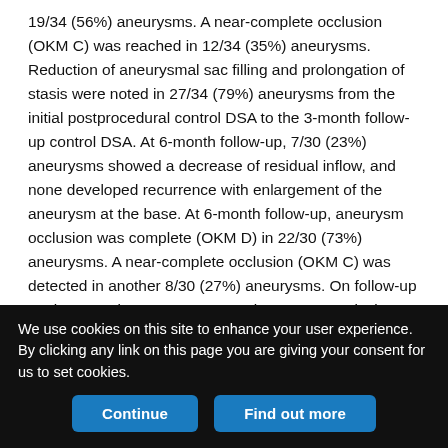19/34 (56%) aneurysms. A near-complete occlusion (OKM C) was reached in 12/34 (35%) aneurysms. Reduction of aneurysmal sac filling and prolongation of stasis were noted in 27/34 (79%) aneurysms from the initial postprocedural control DSA to the 3-month follow-up control DSA. At 6-month follow-up, 7/30 (23%) aneurysms showed a decrease of residual inflow, and none developed recurrence with enlargement of the aneurysm at the base. At 6-month follow-up, aneurysm occlusion was complete (OKM D) in 22/30 (73%) aneurysms. A near-complete occlusion (OKM C) was detected in another 8/30 (27%) aneurysms. On follow-up angiograms, in no case was any in-stent stenosis, in-stent thrombosis, or migration of the FRED implant observed.
We use cookies on this site to enhance your user experience. By clicking any link on this page you are giving your consent for us to set cookies.